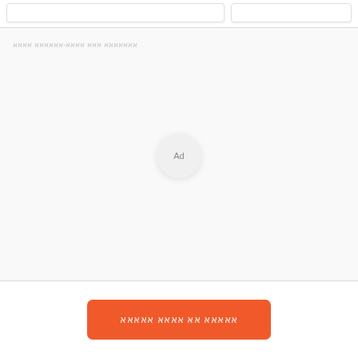[Figure (other): Two card UI elements at top of page, white with light border and shadow]
אאאאאאא אאא אאאא-אאאאאא אאאא
[Figure (other): Large light gray advertisement placeholder area with circular Ad badge in center]
אאאאא אא אאאא אאאאא